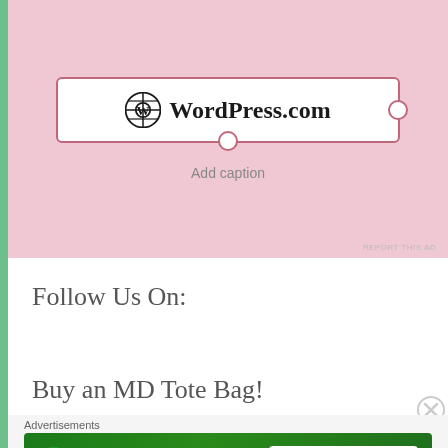[Figure (screenshot): WordPress.com widget block in editor with pink background, showing WordPress.com logo and text in a bordered box with connector circles and 'Add caption' text below]
REPORT THIS AD
Follow Us On:
Buy an MD Tote Bag!
Advertisements
[Figure (screenshot): Jetpack advertisement banner with green background showing Jetpack logo and 'Back up your site' button]